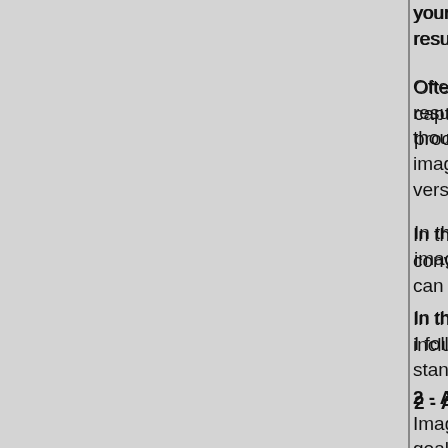your photographs. A lot of what you captur it is not optimized properly and as a result
Often, photographers damage the image d result, a lot of what their camera captured i thousands of dollars spent on purchasing a image data was not processed properly an version of the image.
In the Artistic Lightroom Mastery Workshop convert your images so that no image data can recover image data that you thought w
In the Artistic Lightroom Mastery Workshop including all the separate steps, that I follo standards, soft proof them, sharpen them,
2 - About image optimization in Lightroo
Image optimization is a requirement for the goal is to express an emotional response t as the camera captured it.
To follow this approach successfully it is cr camera sees and what we see.
It is also important to know how to transfor image optimization comes in.